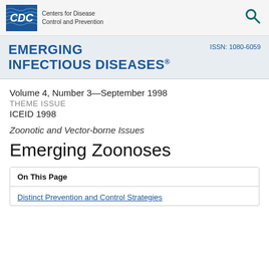[Figure (logo): CDC logo with blue box containing CDC text and 'Centers for Disease Control and Prevention' text beside it, plus search icon on right]
EMERGING INFECTIOUS DISEASES®  ISSN: 1080-6059
Volume 4, Number 3—September 1998
THEME ISSUE
ICEID 1998
Zoonotic and Vector-borne Issues
Emerging Zoonoses
On This Page
Distinct Prevention and Control Strategies